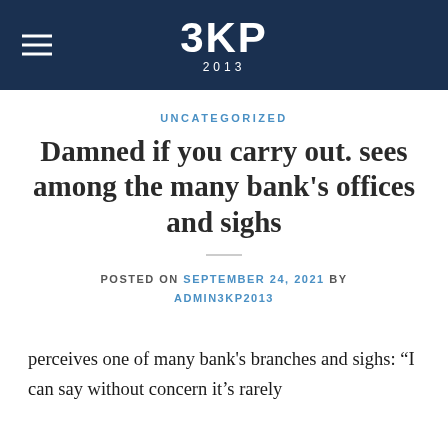3KP 2013
UNCATEGORIZED
Damned if you carry out. sees among the many bank's offices and sighs
POSTED ON SEPTEMBER 24, 2021 BY ADMIN3KP2013
perceives one of many bank's branches and sighs: “I can say without concern it’s rarely